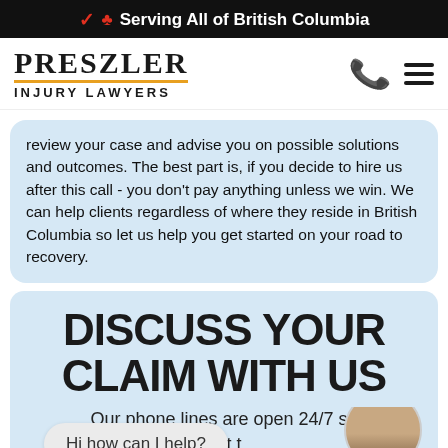🍁 Serving All of British Columbia
[Figure (logo): Preszler Injury Lawyers logo with phone and hamburger menu icons]
review your case and advise you on possible solutions and outcomes. The best part is, if you decide to hire us after this call - you don't pay anything unless we win. We can help clients regardless of where they reside in British Columbia so let us help you get started on your road to recovery.
DISCUSS YOUR CLAIM WITH US
Our phone lines are open 24/7 so out t
Hi how can I help?